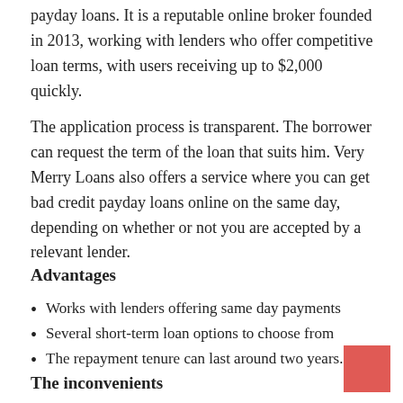payday loans. It is a reputable online broker founded in 2013, working with lenders who offer competitive loan terms, with users receiving up to $2,000 quickly.
The application process is transparent. The borrower can request the term of the loan that suits him. Very Merry Loans also offers a service where you can get bad credit payday loans online on the same day, depending on whether or not you are accepted by a relevant lender.
Advantages
Works with lenders offering same day payments
Several short-term loan options to choose from
The repayment tenure can last around two years.
The inconvenients